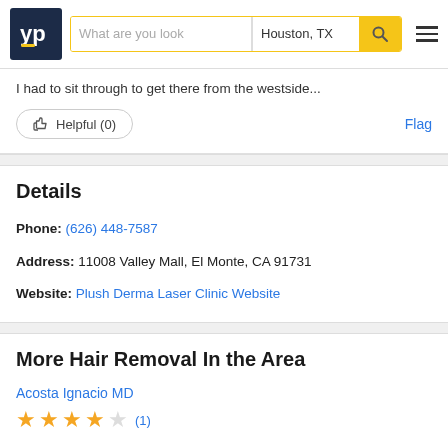[Figure (screenshot): YellowPages (YP) website header with logo, search bar showing 'What are you look' placeholder and 'Houston, TX' location, yellow search button with magnifier icon, and hamburger menu icon]
I had to sit through to get there from the westside...
👍 Helpful (0)    Flag
Details
Phone: (626) 448-7587
Address: 11008 Valley Mall, El Monte, CA 91731
Website: Plush Derma Laser Clinic Website
More Hair Removal In the Area
Acosta Ignacio MD
★★★★☆ (1)